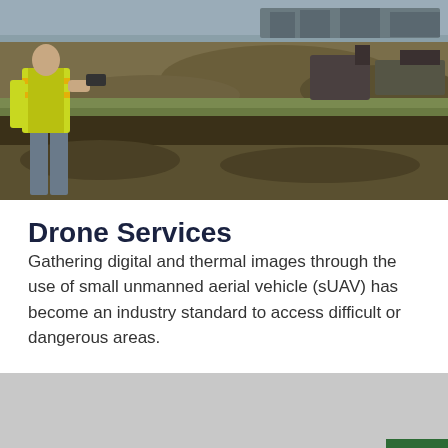[Figure (photo): A person wearing a high-visibility yellow safety vest operating a drone controller at a construction/excavation site. The background shows disturbed earth, construction equipment, and a dirt landscape.]
Drone Services
Gathering digital and thermal images through the use of small unmanned aerial vehicle (sUAV) has become an industry standard to access difficult or dangerous areas.
Request